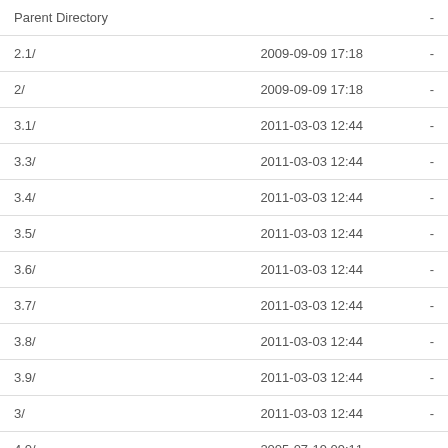| Name | Date | Size |
| --- | --- | --- |
| Parent Directory |  | - |
| 2.1/ | 2009-09-09 17:18 | - |
| 2/ | 2009-09-09 17:18 | - |
| 3.1/ | 2011-03-03 12:44 | - |
| 3.3/ | 2011-03-03 12:44 | - |
| 3.4/ | 2011-03-03 12:44 | - |
| 3.5/ | 2011-03-03 12:44 | - |
| 3.6/ | 2011-03-03 12:44 | - |
| 3.7/ | 2011-03-03 12:44 | - |
| 3.8/ | 2011-03-03 12:44 | - |
| 3.9/ | 2011-03-03 12:44 | - |
| 3/ | 2011-03-03 12:44 | - |
| 4.0/ | 2005-07-19 09:11 | - |